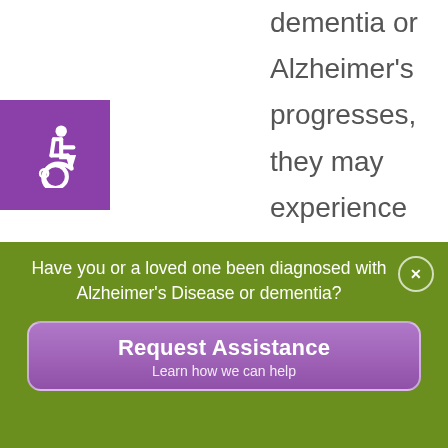[Figure (illustration): Purple square with white wheelchair accessibility icon]
dementia or Alzheimer's progresses, they may experience the inability to smell, taste, and see food which can decrease their desire to eat. You can make food more appetizing by adding more salt-free or
Have you or a loved one been diagnosed with Alzheimer's Disease or dementia?
Request Assistance
Learn how we can help